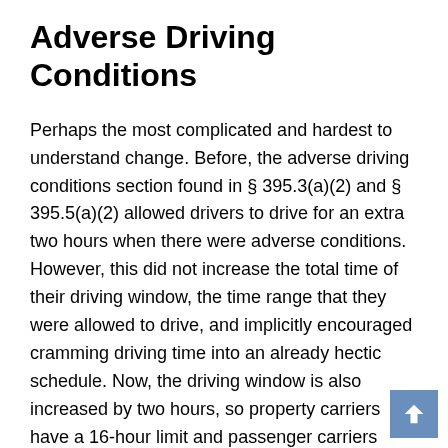Adverse Driving Conditions
Perhaps the most complicated and hardest to understand change. Before, the adverse driving conditions section found in § 395.3(a)(2) and § 395.5(a)(2) allowed drivers to drive for an extra two hours when there were adverse conditions. However, this did not increase the total time of their driving window, the time range that they were allowed to drive, and implicitly encouraged cramming driving time into an already hectic schedule. Now, the driving window is also increased by two hours, so property carriers have a 16-hour limit and passenger carriers have a 17-hour limit when an unforeseen hazard is in play.
Beyond this, the scope of where the exemption applies has been increased. Before, the exception only applied if the dispatcher did not know of or could not have reasonably